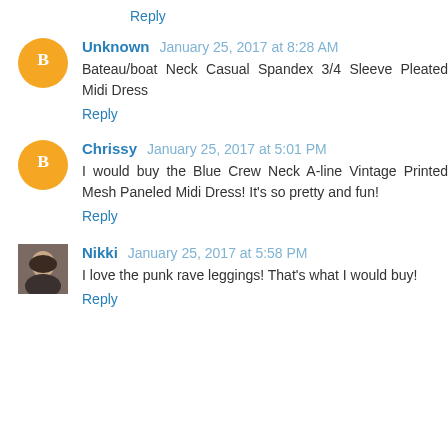Reply
Unknown  January 25, 2017 at 8:28 AM
Bateau/boat Neck Casual Spandex 3/4 Sleeve Pleated Midi Dress
Reply
Chrissy  January 25, 2017 at 5:01 PM
I would buy the Blue Crew Neck A-line Vintage Printed Mesh Paneled Midi Dress! It's so pretty and fun!
Reply
Nikki  January 25, 2017 at 5:58 PM
I love the punk rave leggings! That's what I would buy!
Reply